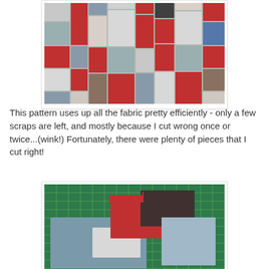[Figure (photo): A quilt pattern layout showing fabric pieces arranged in a brick-like pattern with red, brown, blue, gray, and white fabrics on a flat surface.]
This pattern uses up all the fabric pretty efficiently - only a few scraps are left, and mostly because I cut wrong once or twice...(wink!)  Fortunately, there were plenty of pieces that I cut right!
[Figure (photo): Fabric pieces laid out on a green cutting mat, showing red, brown, gray, and white fabric pieces arranged for a quilt pattern.]